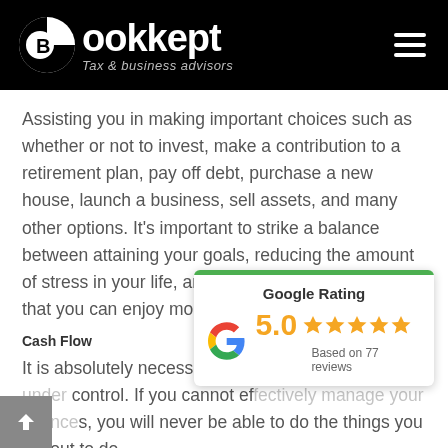[Figure (logo): Bookkept logo — white circular icon with stylized B/C letter on black background, with text 'Bookkept' and tagline 'Tax & business advisors'. Hamburger menu icon on the right.]
Assisting you in making important choices such as whether or not to invest, make a contribution to a retirement plan, pay off debt, purchase a new house, launch a business, sell assets, and many other options. It's important to strike a balance between attaining your goals, reducing the amount of stress in your life, and building your wealth so that you can enjoy more freedom in the future.
Cash Flow
It is absolutely necessary to have your cash flow under control. If you cannot effectively manage your finances, you will never be able to do the things you set out to do.
[Figure (infographic): Google Rating widget showing 5.0 rating with 5 orange stars, based on 77 reviews. Green top bar, white background, Google G logo.]